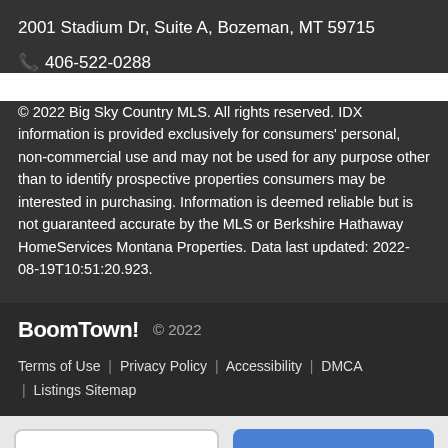2001 Stadium Dr, Suite A, Bozeman, MT 59715
📞 406-522-0288
© 2022 Big Sky Country MLS. All rights reserved. IDX information is provided exclusively for consumers' personal, non-commercial use and may not be used for any purpose other than to identify prospective properties consumers may be interested in purchasing. Information is deemed reliable but is not guaranteed accurate by the MLS or Berkshire Hathaway HomeServices Montana Properties. Data last updated: 2022-08-19T10:51:20.923.
BoomTown! © 2022 | Terms of Use | Privacy Policy | Accessibility | DMCA | Listings Sitemap
Take a Tour | Ask A Question